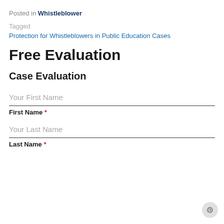Posted in Whistleblower
Tagged
Protection for Whistleblowers in Public Education Cases
Free Evaluation
Case Evaluation
Your First Name
First Name *
Your Last Name
Last Name *